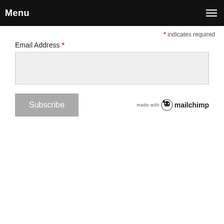Menu
* indicates required
Email Address *
[Figure (screenshot): Email address text input field, light gray background]
Subscribe
[Figure (logo): made with Mailchimp logo]